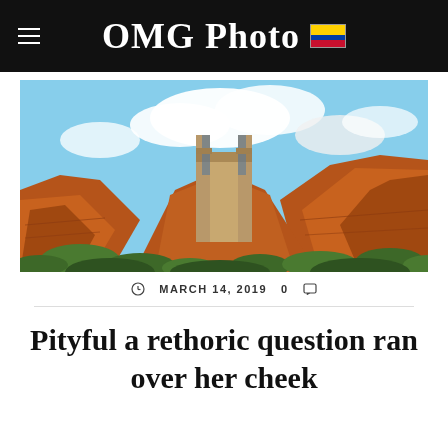OMG Photo
[Figure (photo): A modernist chapel or cross structure built into red rock cliffs in Sedona-style landscape, with green shrubs and a partly cloudy blue sky.]
MARCH 14, 2019   0
Pityful a rethoric question ran over her cheek